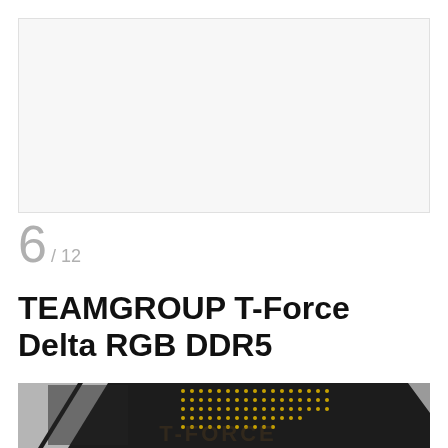[Figure (photo): Light gray placeholder image area at top of page]
6 / 12
TEAMGROUP T-Force Delta RGB DDR5
[Figure (photo): Dark product photo showing TEAMGROUP T-Force Delta RGB DDR5 memory module with white diagonal stripes on dark background and yellow dot matrix pattern]